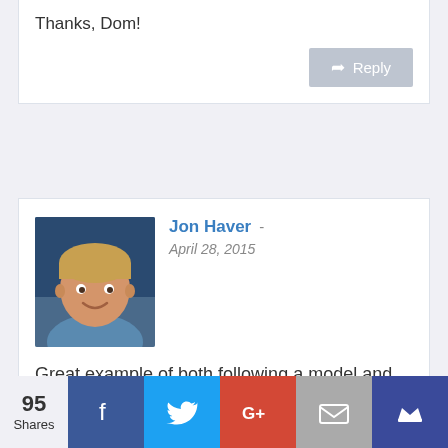Thanks, Dom!
Reply
Jon Haver - April 28, 2015
Great example of both following a model and finding success as well as great outreach for this post 😉
Really impressive start and definitely a great
95 Shares | Facebook | Twitter | Google+ | Email | Crown